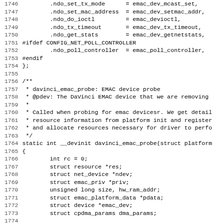[Figure (screenshot): Source code listing (C language) showing lines 1746-1778 of a Linux network driver file (davinci_emac). Lines include net_device_ops structure initialization and the beginning of davinci_emac_probe function with variable declarations.]